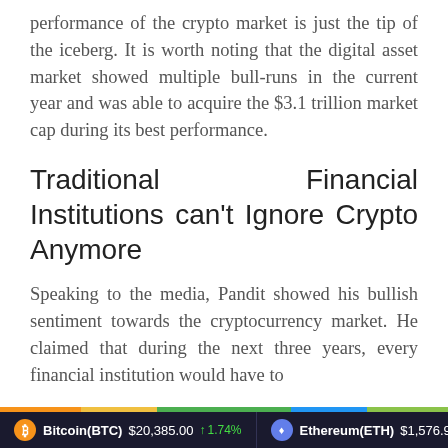performance of the crypto market is just the tip of the iceberg. It is worth noting that the digital asset market showed multiple bull-runs in the current year and was able to acquire the $3.1 trillion market cap during its best performance.
Traditional Financial Institutions can't Ignore Crypto Anymore
Speaking to the media, Pandit showed his bullish sentiment towards the cryptocurrency market. He claimed that during the next three years, every financial institution would have to
Bitcoin(BTC) $20,385.00 ↑ 1.74%   Ethereum(ETH) $1,576.92 ↑